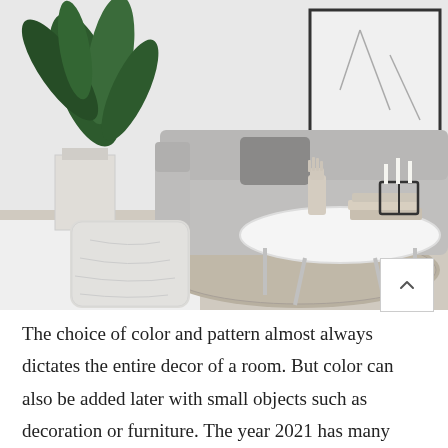[Figure (photo): Modern minimalist living room with a grey sectional sofa, a white round coffee table with chrome legs, a decorative hand sculpture and candle holder on the table, a large green plant in a white pot, a white fabric pouf/ottoman on the floor, a woven rug, and abstract framed art on the wall.]
The choice of color and pattern almost always dictates the entire decor of a room. But color can also be added later with small objects such as decoration or furniture. The year 2021 has many